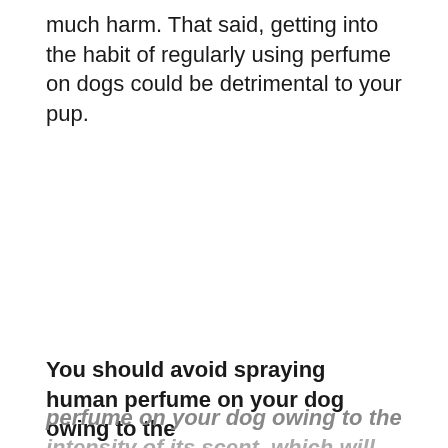much harm. That said, getting into the habit of regularly using perfume on dogs could be detrimental to your pup.
You should avoid spraying human perfume on your dog owing to the intensity of its scent, which will appear much stronger to the sensitive nose of